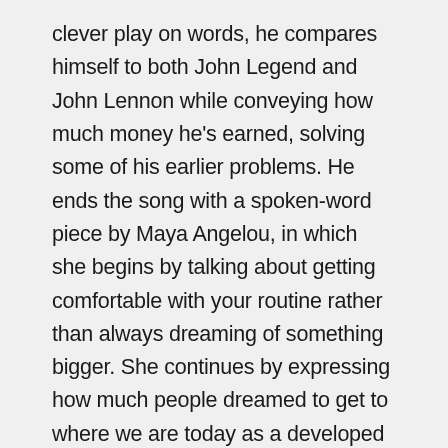clever play on words, he compares himself to both John Legend and John Lennon while conveying how much money he's earned, solving some of his earlier problems. He ends the song with a spoken-word piece by Maya Angelou, in which she begins by talking about getting comfortable with your routine rather than always dreaming of something bigger. She continues by expressing how much people dreamed to get to where we are today as a developed nation; without their ancestors' continuous dreams of a life of freedom, slavery wouldn't be abolished. You can't get a better life if you can't envision it. Moments like these exemplify why Maya Angelou's poetry has been used throughout Hip-Hop, even just as